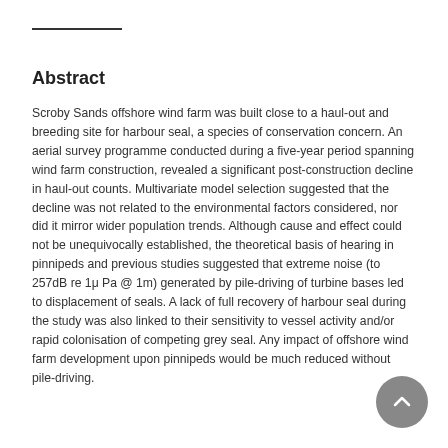Abstract
Scroby Sands offshore wind farm was built close to a haul-out and breeding site for harbour seal, a species of conservation concern. An aerial survey programme conducted during a five-year period spanning wind farm construction, revealed a significant post-construction decline in haul-out counts. Multivariate model selection suggested that the decline was not related to the environmental factors considered, nor did it mirror wider population trends. Although cause and effect could not be unequivocally established, the theoretical basis of hearing in pinnipeds and previous studies suggested that extreme noise (to 257dB re 1μ Pa @ 1m) generated by pile-driving of turbine bases led to displacement of seals. A lack of full recovery of harbour seal during the study was also linked to their sensitivity to vessel activity and/or rapid colonisation of competing grey seal. Any impact of offshore wind farm development upon pinnipeds would be much reduced without pile-driving.